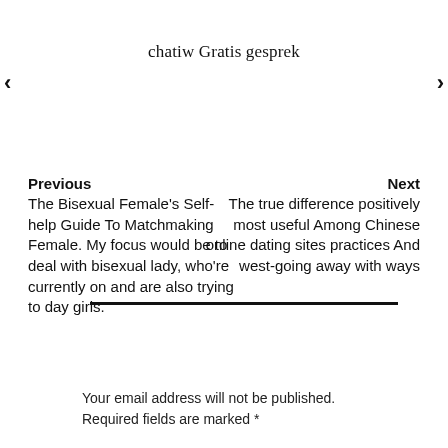chatiw Gratis gesprek
Previous
The Bisexual Female's Self-help Guide To Matchmaking Female. My focus would be to deal with bisexual lady, who're currently on and are also trying to day girls.
Next
The true difference positively most useful Among Chinese online dating sites practices And west-going away with ways
Your email address will not be published. Required fields are marked *